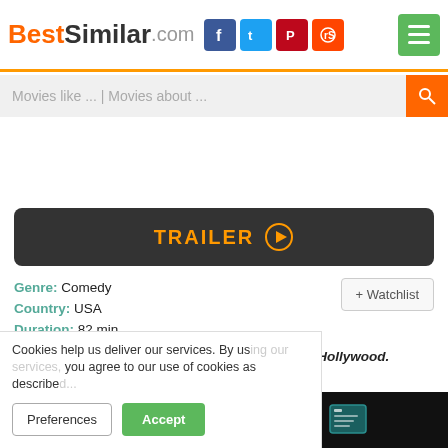BestSimilar.com
Movies like ... | Movies about ...
[Figure (other): Trailer button — dark rounded rectangle with orange text TRAILER and play icon]
Genre: Comedy
Country: USA
Duration: 82 min.
Story: A naive young woman tries to make it in Hollywood.
Plot: nude swimming, sex scene, lust, foreplay, female nudity, erotica, nudity (full frontal - brief), skinny dipping, breasts buttocks, breast fondling, swimming
Cookies help us deliver our services. By using our services, you agree to our use of cookies as described...